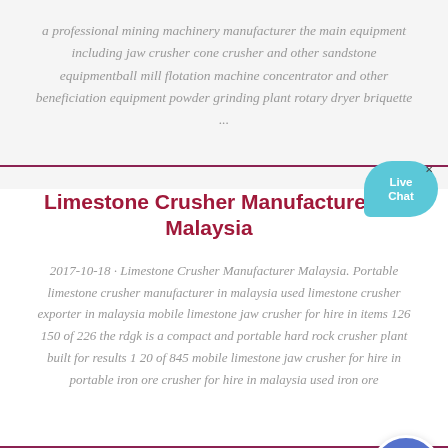a professional mining machinery manufacturer the main equipment including jaw crusher cone crusher and other sandstone equipmentball mill flotation machine concentrator and other beneficiation equipment powder grinding plant rotary dryer briquette ...
Limestone Crusher Manufacturer Malaysia
2017-10-18 · Limestone Crusher Manufacturer Malaysia. Portable limestone crusher manufacturer in malaysia used limestone crusher exporter in malaysia mobile limestone jaw crusher for hire in items 126 150 of 226 the rdgk is a compact and portable hard rock crusher plant built for results 1 20 of 845 mobile limestone jaw crusher for hire in portable iron ore crusher for hire in malaysia used iron ore